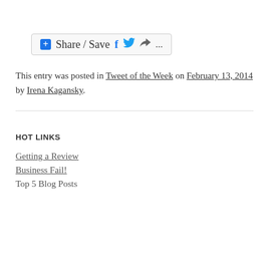[Figure (other): Share / Save button with Facebook, Twitter, share arrow, and ellipsis icons]
This entry was posted in Tweet of the Week on February 13, 2014 by Irena Kagansky.
HOT LINKS
Getting a Review
Business Fail!
Top 5 Blog Posts